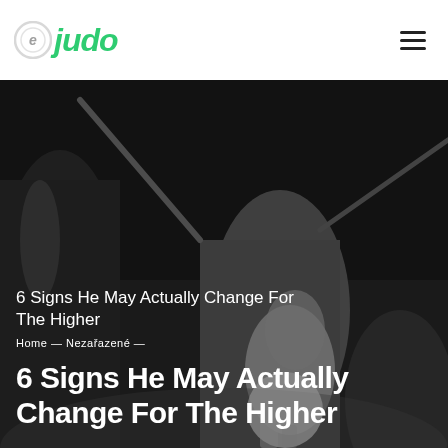e judo [logo] [hamburger menu]
[Figure (photo): Black and white photo of judo/martial arts practitioners with weapons (swords/sticks), dramatic action poses against dark background]
6 Signs He May Actually Change For The Higher
Home — Nezařazené —
6 Signs He May Actually Change For The Higher